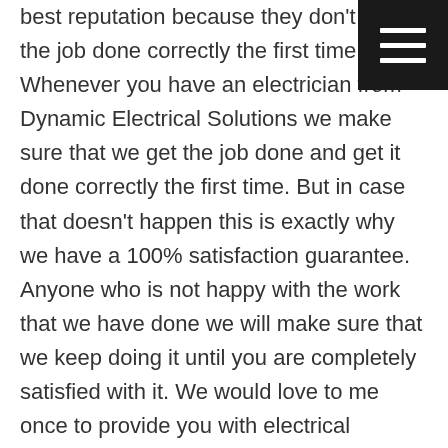best reputation because they don't get the job done correctly the first time. Whenever you have an electrician from Dynamic Electrical Solutions we make sure that we get the job done and get it done correctly the first time. But in case that doesn't happen this is exactly why we have a 100% satisfaction guarantee. Anyone who is not happy with the work that we have done we will make sure that we keep doing it until you are completely satisfied with it. We would love to me once to provide you with electrical services that you need so anytime you hire us how you always had this 100% satisfaction guarantee in place and we will make sure that we get the job done correctly. Not to worry about doing any extra work